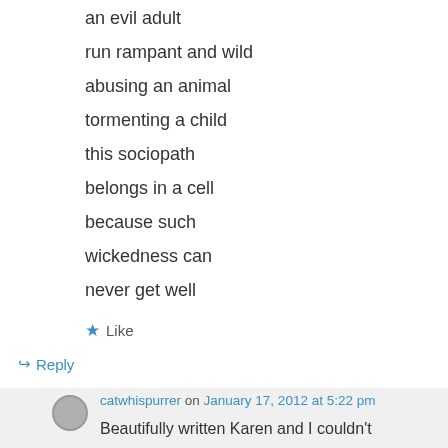an evil adult
run rampant and wild
abusing an animal
tormenting a child
this sociopath
belongs in a cell
because such
wickedness can
never get well
★ Like
↪ Reply
catwhispurrer on January 17, 2012 at 5:22 pm
Beautifully written Karen and I couldn't